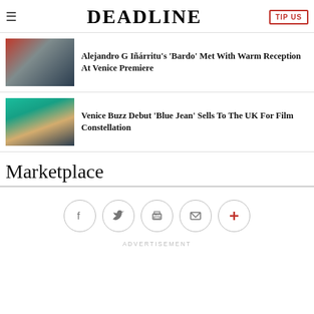DEADLINE — TIP US
[Figure (photo): Two people at a premiere, one in red dress]
Alejandro G Iñárritu's 'Bardo' Met With Warm Reception At Venice Premiere
[Figure (photo): A blond woman in teal/greenish scene]
Venice Buzz Debut 'Blue Jean' Sells To The UK For Film Constellation
Marketplace
ADVERTISEMENT